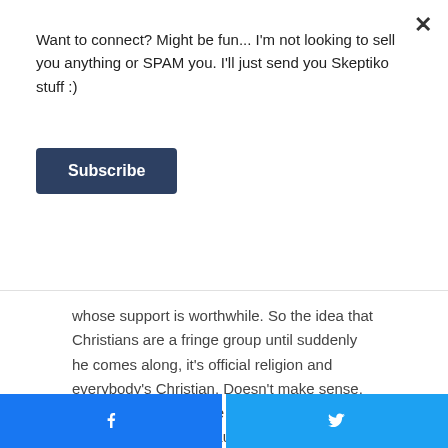Want to connect? Might be fun... I'm not looking to sell you anything or SPAM you. I'll just send you Skeptiko stuff :)
Subscribe
whose support is worthwhile. So the idea that Christians are a fringe group until suddenly he comes along, it's official religion and everybody's Christian. Doesn't make sense, either. And often, we're thinking in far too theological away, because we think you're either a Christian or you're not. If you've come from a polytheistic tradition, where you have this different sense of spirituality, then adding in Jesus or this Jewish God as an extra deity is fine. That's perfectly you know, but you can do that it doesn't mean you don't sacrifice the Dynasis as well. It doesn't mean you might some, I think, actually,